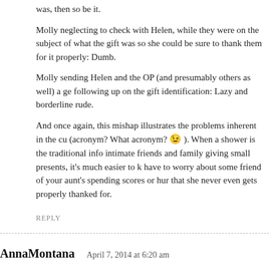was, then so be it.
Molly neglecting to check with Helen, while they were on the subject of what the gift was so she could be sure to thank them for it properly: Dumb.
Molly sending Helen and the OP (and presumably others as well) a generic email following up on the gift identification: Lazy and borderline rude.
And once again, this mishap illustrates the problems inherent in the cu (acronym? What acronym? 😉 ). When a shower is the traditional info intimate friends and family giving small presents, it's much easier to k have to worry about some friend of your aunt's spending scores or hur that she never even gets properly thanked for.
REPLY
AnnaMontana   April 7, 2014 at 6:20 am
We had a similar issue, but in our case, it was my godmother whom we (al allow my MIL the opportunity to 'get involved' with our wedding plannin had been organized and arranged 8+ hours away from our location, mean